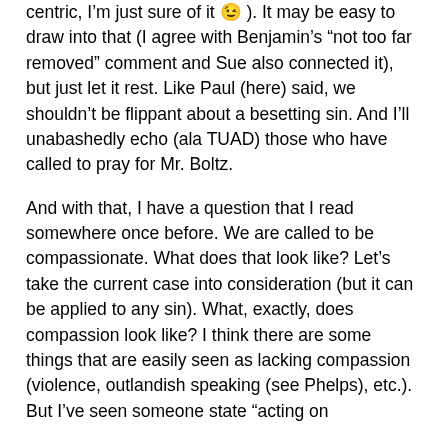centric, Iâ€™m just sure of it 😉 ). It may be easy to draw into that (I agree with Benjaminâ€™s â€œnot too far removedâ€ comment and Sue also connected it), but just let it rest. Like Paul (here) said, we shouldnâ€™t be flippant about a besetting sin. And Iâ€™ll unabashedly echo (ala TUAD) those who have called to pray for Mr. Boltz.
And with that, I have a question that I read somewhere once before. We are called to be compassionate. What does that look like? Letâ€™s take the current case into consideration (but it can be applied to any sin). What, exactly, does compassion look like? I think there are some things that are easily seen as lacking compassion (violence, outlandish speaking (see Phelps), etc.). But Iâ€™ve seen someone state â€œacting on